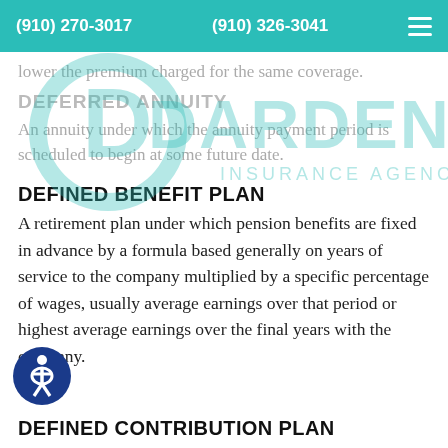(910) 270-3017   (910) 326-3041
[Figure (logo): Darden Insurance Agency logo overlaid on page content]
lower the premium charged for the same coverage.
DEFERRED ANNUITY
An annuity under which the annuity payment period is scheduled to begin at some future date.
DEFINED BENEFIT PLAN
A retirement plan under which pension benefits are fixed in advance by a formula based generally on years of service to the company multiplied by a specific percentage of wages, usually average earnings over that period or highest average earnings over the final years with the company.
DEFINED CONTRIBUTION PLAN